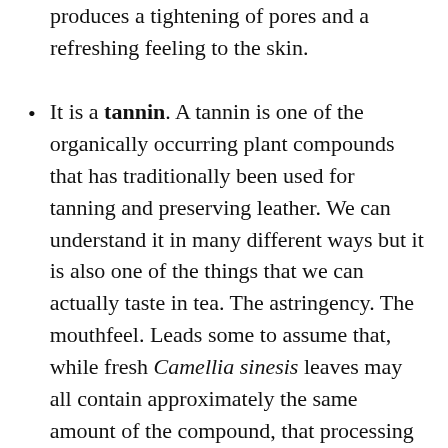produces a tightening of pores and a refreshing feeling to the skin.
It is a tannin. A tannin is one of the organically occurring plant compounds that has traditionally been used for tanning and preserving leather. We can understand it in many different ways but it is also one of the things that we can actually taste in tea. The astringency. The mouthfeel. Leads some to assume that, while fresh Camellia sinesis leaves may all contain approximately the same amount of the compound, that processing may change this.